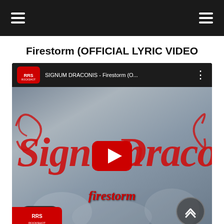Navigation header with hamburger menus
Firestorm (OFFICIAL LYRIC VIDEO
[Figure (screenshot): YouTube video embed showing SIGNUM DRACONIS - Firestorm (O... with a thumbnail featuring the Signum Draconis band logo in red gothic lettering, a YouTube play button overlay in red, and the word 'firestorm' in red italic text below. Dark mode toggle and scroll-to-top button visible at bottom.]